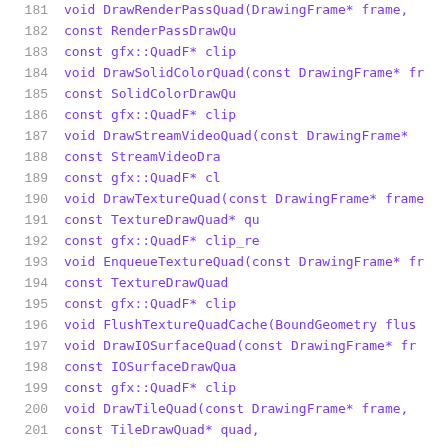[Figure (screenshot): Source code listing showing C++ class method declarations, lines 181-201, with line numbers in gray and code in purple monospace font on white background.]